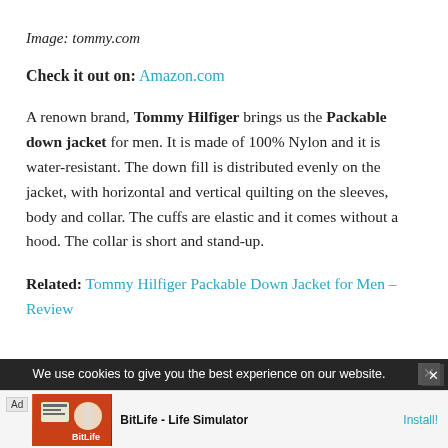Image: tommy.com
Check it out on: Amazon.com
A renown brand, Tommy Hilfiger brings us the Packable down jacket for men. It is made of 100% Nylon and it is water-resistant. The down fill is distributed evenly on the jacket, with horizontal and vertical quilting on the sleeves, body and collar. The cuffs are elastic and it comes without a hood. The collar is short and stand-up.
Related: Tommy Hilfiger Packable Down Jacket for Men – Review